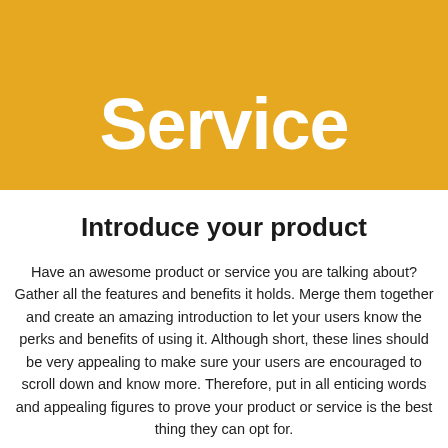Service
Introduce your product
Have an awesome product or service you are talking about? Gather all the features and benefits it holds. Merge them together and create an amazing introduction to let your users know the perks and benefits of using it. Although short, these lines should be very appealing to make sure your users are encouraged to scroll down and know more. Therefore, put in all enticing words and appealing figures to prove your product or service is the best thing they can opt for.